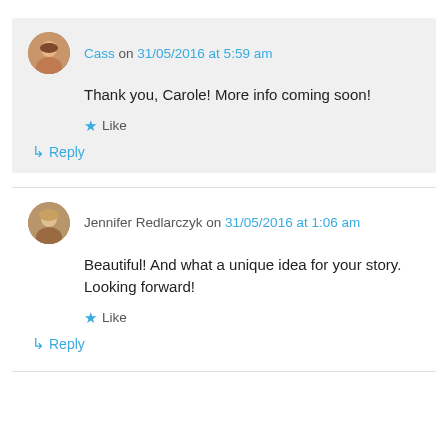Cass on 31/05/2016 at 5:59 am
Thank you, Carole! More info coming soon!
Like
Reply
Jennifer Redlarczyk on 31/05/2016 at 1:06 am
Beautiful! And what a unique idea for your story. Looking forward!
Like
Reply